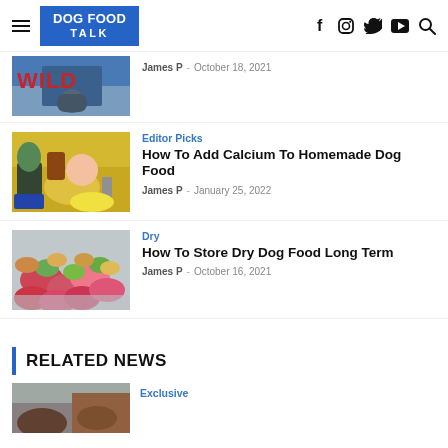DOG FOOD TALK
[Figure (photo): Partial article thumbnail showing WILD text and a mountain scene with person]
James P - October 18, 2021
[Figure (photo): Food ingredients on a kitchen scale with vegetables, banana, and blueberries on yellow surface]
Editor Picks
How To Add Calcium To Homemade Dog Food
James P - January 25, 2022
[Figure (photo): Colorful dry dog food kibble, pink, green, and tan pieces in a bowl]
Dry
How To Store Dry Dog Food Long Term
James P - October 16, 2021
RELATED NEWS
Exclusive